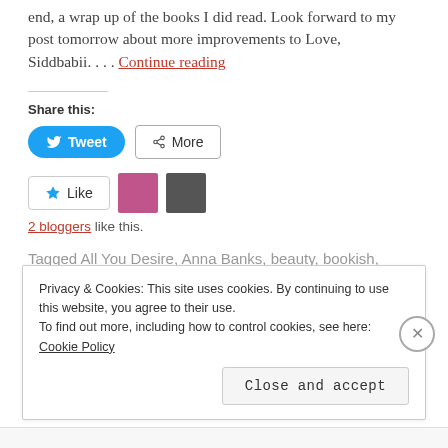end, a wrap up of the books I did read. Look forward to my post tomorrow about more improvements to Love, Siddbabii…. Continue reading
Share this:
[Figure (screenshot): Tweet button (blue rounded) and More button (outlined)]
[Figure (screenshot): Like button with star icon, two blogger avatars]
2 bloggers like this.
Tagged All You Desire, Anna Banks, beauty, bookish, books, bookworm, fashion, goals, january, Kirsten Miller, Love
Privacy & Cookies: This site uses cookies. By continuing to use this website, you agree to their use. To find out more, including how to control cookies, see here: Cookie Policy
Close and accept